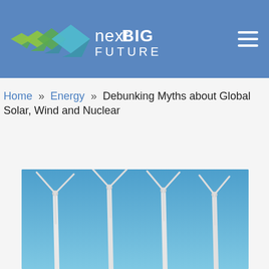nextBIG FUTURE
Home » Energy » Debunking Myths about Global Solar, Wind and Nuclear
[Figure (photo): Four wind turbines against a clear blue sky, photographed from below at an angle showing their tall towers and blades.]